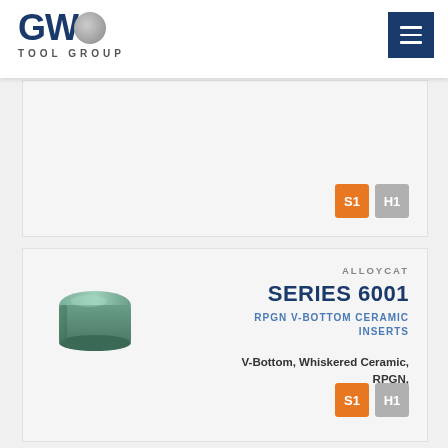GWS TOOL GROUP
[Figure (logo): GWS Tool Group logo with circular brushed metal S element]
[Figure (illustration): Ceramic insert product illustration - rounded rectangular green ceramic insert (RPGN V-bottom)]
ALLOYCAT
SERIES 6001
RPGN V-BOTTOM CERAMIC INSERTS
V-Bottom, Whiskered Ceramic, RPGN,